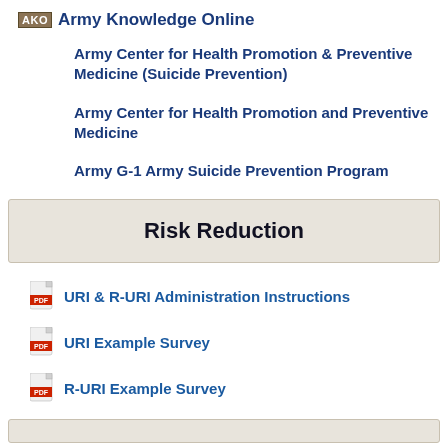AKO Army Knowledge Online
Army Center for Health Promotion & Preventive Medicine (Suicide Prevention)
Army Center for Health Promotion and Preventive Medicine
Army G-1 Army Suicide Prevention Program
Risk Reduction
URI & R-URI Administration Instructions
URI Example Survey
R-URI Example Survey